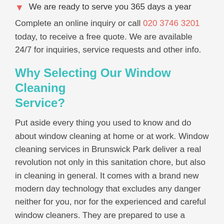We are ready to serve you 365 days a year
Complete an online inquiry or call 020 3746 3201 today, to receive a free quote. We are available 24/7 for inquiries, service requests and other info.
Why Selecting Our Window Cleaning Service?
Put aside every thing you used to know and do about window cleaning at home or at work. Window cleaning services in Brunswick Park deliver a real revolution not only in this sanitation chore, but also in cleaning in general. It comes with a brand new modern day technology that excludes any danger neither for you, nor for the experienced and careful window cleaners. They are prepared to use a specially tailored system with water fed pole. The pole is prolonged to reach up to 22m or 4 cleaners can easily rinse the windows including all the frames (PVC only) from a long distance without even utilizing a ladder. All you need to do, is to have confidence in us and to offer us parking space in front of your residence. The pole window cleaning equipment are in our